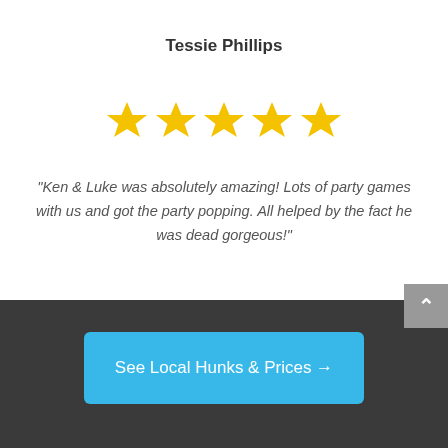Tessie Phillips
[Figure (other): Five gold star rating icons]
"Ken & Luke was absolutely amazing! Lots of party games with us and got the party popping. All helped by the fact he was dead gorgeous!"
See Local Hunks & Prices →